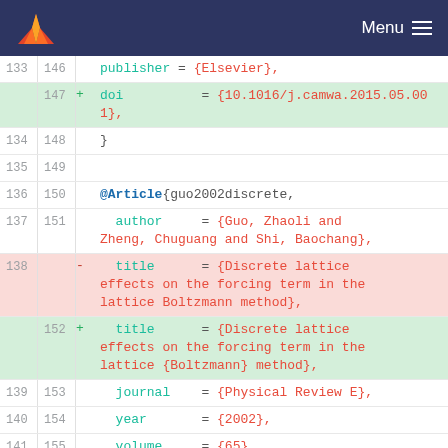Menu
Code diff showing BibTeX entries with line numbers 133-144 (old) and 146-158 (new). Includes publisher Elsevier, doi 10.1016/j.camwa.2015.05.001, @Article{guo2002discrete, author={Guo, Zhaoli and Zheng, Chuguang and Shi, Baochang}, title changes for Discrete lattice effects on the forcing term in the lattice Boltzmann method, journal={Physical Review E}, year={2002}, volume={65}, number={4}, pages={046308}, publisher={APS}